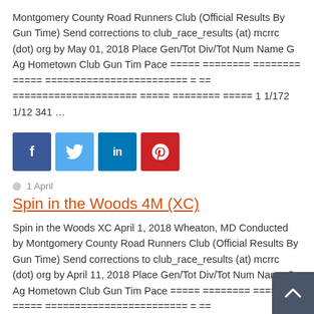Montgomery County Road Runners Club (Official Results By Gun Time) Send corrections to club_race_results (at) mcrrc (dot) org by May 01, 2018 Place Gen/Tot Div/Tot Num Name G Ag Hometown Club Gun Tim Pace ===== ======== ======== ===== ======================== = == ===================== ===== ======== ===== 1 1/172 1/12 341 …
[Figure (infographic): Social share buttons: Facebook (blue), Twitter (light blue), LinkedIn (blue), Pinterest (red)]
1 April
Spin in the Woods 4M (XC)
Spin in the Woods XC April 1, 2018 Wheaton, MD Conducted by Montgomery County Road Runners Club (Official Results By Gun Time) Send corrections to club_race_results (at) mcrrc (dot) org by April 11, 2018 Place Gen/Tot Div/Tot Num Name G Ag Hometown Club Gun Tim Pace ===== ======== ======== ===== ======================== = == ===================== ===== ======== ===== 1 1/83 1/6 …